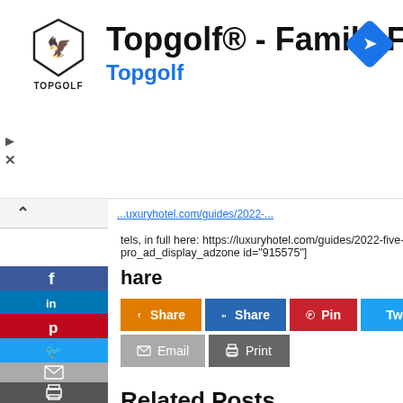[Figure (screenshot): Topgolf advertisement banner with logo and title 'Topgolf® - Family Fun', subtitle 'Topgolf', and a navigation/directions icon in the top right corner.]
tels, in full here: https://luxuryhotel.com/guides/2022-five-star-in
pro_ad_display_adzone id="915575"]
Share
Share  Share  Pin  Tweet
Email  Print
Related Posts
[Figure (photo): Thumbnail image of group of people outdoors]
[Figure (photo): Thumbnail image with dark background, outdoor setting]
[Figure (photo): Thumbnail image of two people in conversation]
[Figure (photo): Thumbnail image, partially visible]